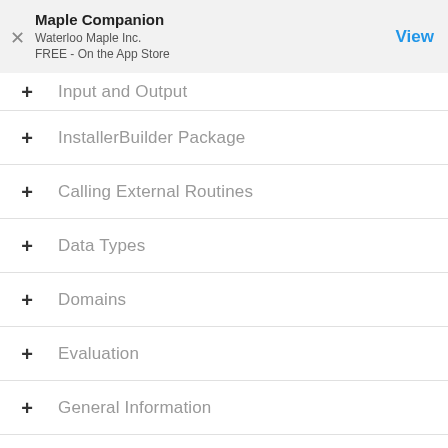Maple Companion
Waterloo Maple Inc.
FREE - On the App Store
Input and Output
InstallerBuilder Package
Calling External Routines
Data Types
Domains
Evaluation
General Information
Modules
Objects
Multithreaded Programming